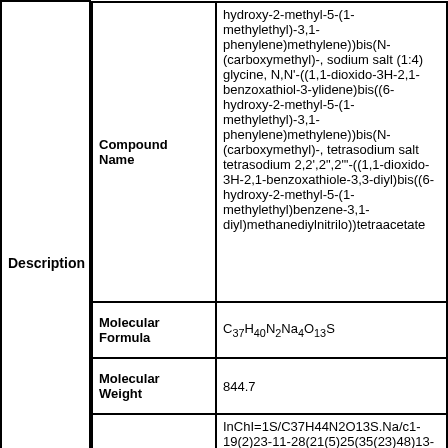| Description | Field | Value |
| --- | --- | --- |
| Description | Compound Name | hydroxy-2-methyl-5-(1-methylethyl)-3,1-phenylene)methylene))bis(N-(carboxymethyl)-, sodium salt (1:4) glycine, N,N'-((1,1-dioxido-3H-2,1-benzoxathiol-3-ylidene)bis((6-hydroxy-2-methyl-5-(1-methylethyl)-3,1-phenylene)methylene))bis(N-(carboxymethyl)-, tetrasodium salt tetrasodium 2,2',2",2"'-((1,1-dioxido-3H-2,1-benzoxathiole-3,3-diyl)bis((6-hydroxy-2-methyl-5-(1-methylethyl)benzene-3,1-diyl)methanediylnitrilo))tetraacetate |
|  | Molecular Formula | C37H40N2Na4O13S |
|  | Molecular Weight | 844.7 |
|  | InChI | InChI=1S/C37H44N2O13S.Na/c1-19(2)23-11-28(21(5)25(35(23)48)13-38(15-31(40)41)16-32(42)43)37(27-9-7-8-10-30(27)53(50,51)52-37)29-12-24(20(3)4)26(36(29)49)14-39(17-33(44)45)18-34(46)47;/h7-12,19-20H,13-18H2,1-6H3,(H,40,41)(H,42,43)(H,44,45)(H,46,47);/q;+1/p-4/t37-;/m0./s1 InChI=1S/C37H44N2O13S.Na/c1-19(2)23-11-28(21(5)25(35(23)48)13-38(15-31(40)41)16-32(42)43)37(27-9-7-8-10-30(27)53(50,51)52-37)29-12-24(20(3)4)26(36(29)49)14-39(17-33(44)45)18-34(46)47; |
|  | InChI | InChI=1S/C37H44N2O13S.Na/c1-19(2)23-11-28(21(5)25(35(23)48)13-38(15-31(40)41)16-32(42)43)37(27-9-7-8-10-30(27)53(50,51)52-37)29-12-24(20(3)4)26(36(29)49)14-39(17-33(44)45)18-34(46)47; 24(20(3)4)36(49)49)14- |